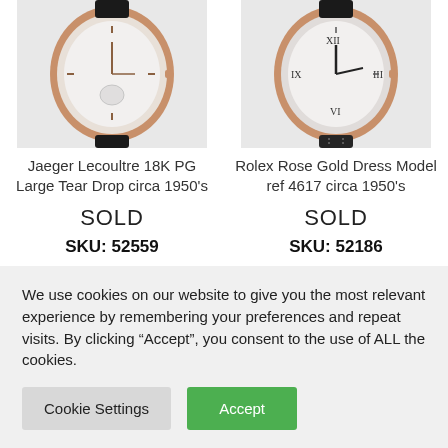[Figure (photo): Jaeger Lecoultre 18K PG Large Tear Drop watch with rose gold case and black leather strap, circa 1950s]
Jaeger Lecoultre 18K PG Large Tear Drop circa 1950's
SOLD
SKU: 52559
As low as $120/mo with affirm. Learn more
[Figure (photo): Rolex Rose Gold Dress Model ref 4617 watch with rose gold case and black leather strap, circa 1950s]
Rolex Rose Gold Dress Model ref 4617 circa 1950's
SOLD
SKU: 52186
As low as $160/mo with affirm. Learn more
We use cookies on our website to give you the most relevant experience by remembering your preferences and repeat visits. By clicking “Accept”, you consent to the use of ALL the cookies.